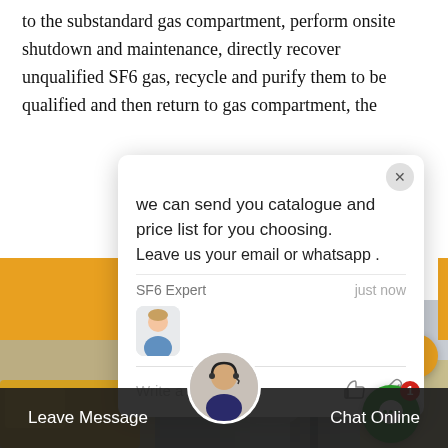to the substandard gas compartment, perform onsite shutdown and maintenance, directly recover unqualified SF6 gas, recycle and purify them to be qualified and then return to gas compartment, the
[Figure (screenshot): A live chat popup overlay on an industrial website. The popup has a white card with a close button (X), a chat message reading 'we can send you catalogue and price list for you choosing. Leave us your email or whatsapp .' sent by 'SF6 Expert' 'just now', a user avatar, and a reply text box with like and paperclip icons. Behind the popup are orange banner elements and an industrial photo.]